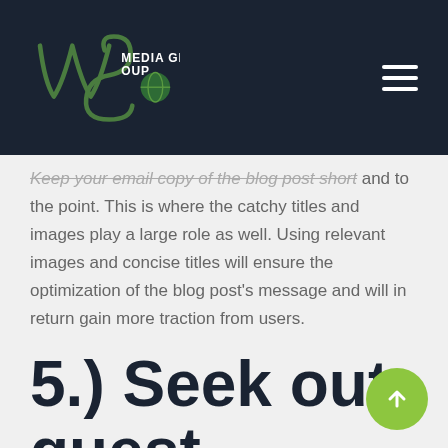WS Media Group
Keep your email copy of the blog post short and to the point. This is where the catchy titles and images play a large role as well. Using relevant images and concise titles will ensure the optimization of the blog post's message and will in return gain more traction from users.
5.) Seek out guest posting